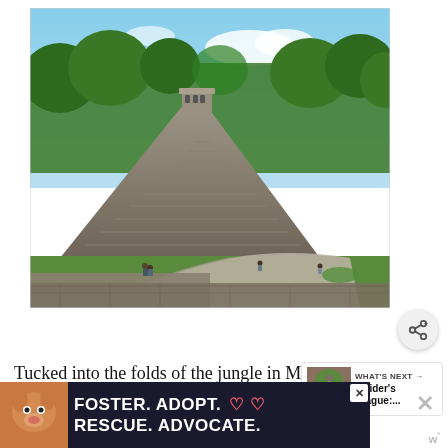[Figure (photo): Aerial view of a large stepped Mayan pyramid (Temple of the Inscriptions at Palenque) surrounded by jungle. Tourists walk along a path at the base. Stone ruins are visible in the foreground.]
Tucked into the folds of the jungle in Mexico's Chiapas region stands the mostly bu...
[Figure (screenshot): WHAT'S NEXT callout box with thumbnail image and text: Insider's Prague:....]
[Figure (infographic): Advertisement banner: dog image with text FOSTER. ADOPT. RESCUE. ADVOCATE. with heart icons.]